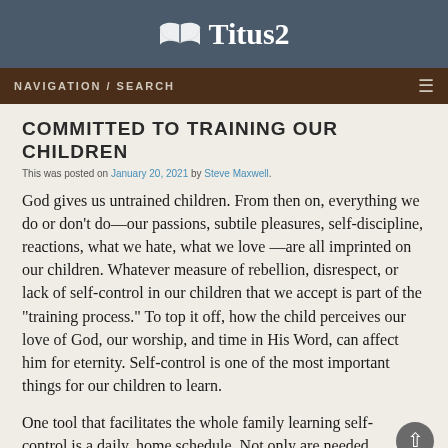Titus2
NAVIGATION / SEARCH
COMMITTED TO TRAINING OUR CHILDREN
This was posted on January 20, 2021 by Steve Maxwell.
God gives us untrained children. From then on, everything we do or don’t do—our passions, subtile pleasures, self-discipline, reactions, what we hate, what we love —are all imprinted on our children. Whatever measure of rebellion, disrespect, or lack of self-control in our children that we accept is part of the “training process.” To top it off, how the child perceives our love of God, our worship, and time in His Word, can affect him for eternity. Self-control is one of the most important things for our children to learn.
One tool that facilitates the whole family learning self-control is a daily, home schedule. Not only are needed